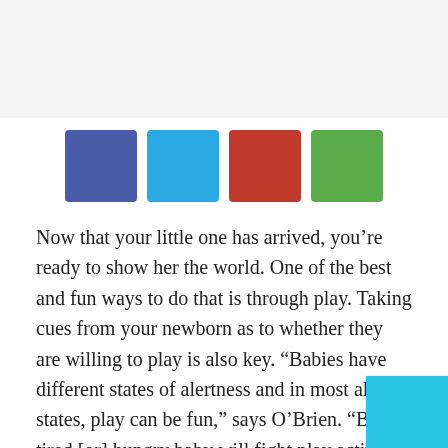[Figure (infographic): Four colored social media share buttons in a row: dark blue (Facebook), light blue (Twitter), red (Google+), green (Pinterest)]
Now that your little one has arrived, you're ready to show her the world. One of the best and fun ways to do that is through play. Taking cues from your newborn as to whether they are willing to play is also key. “Babies have different states of alertness and in most alert states, play can be fun,” says O’Brien. “But a tired [or] hungry baby will fight play activities that they adored when they were more relaxed. “Paying attention to how your baby responds to the tone of your voice and how quickly or slowly you handle each toy will also help you determine how to play.